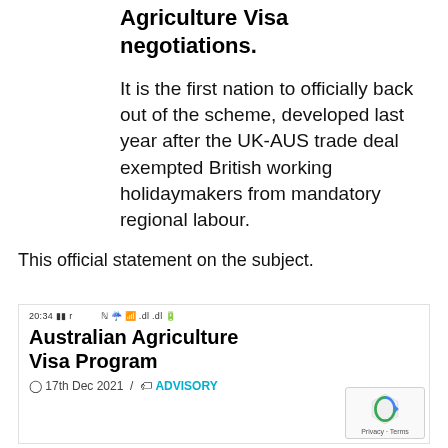Agriculture Visa negotiations.
It is the first nation to officially back out of the scheme, developed last year after the UK-AUS trade deal exempted British working holidaymakers from mandatory regional labour.
This official statement on the subject.
[Figure (screenshot): Screenshot of a webpage: Australian Agriculture Visa Program, dated 17th Dec 2021, tagged ADVISORY]
17th Dec 2021 / ADVISORY